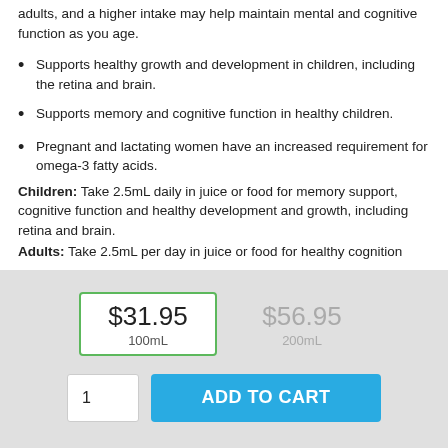adults, and a higher intake may help maintain mental and cognitive function as you age.
Supports healthy growth and development in children, including the retina and brain.
Supports memory and cognitive function in healthy children.
Pregnant and lactating women have an increased requirement for omega-3 fatty acids.
Children: Take 2.5mL daily in juice or food for memory support, cognitive function and healthy development and growth, including retina and brain.
Adults: Take 2.5mL per day in juice or food for healthy cognition
$31.95
100mL
$56.95
200mL
1
ADD TO CART